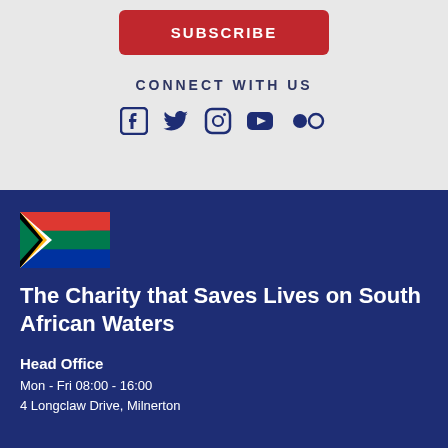SUBSCRIBE
CONNECT WITH US
[Figure (illustration): Social media icons: Facebook, Twitter, Instagram, YouTube, Flickr]
[Figure (illustration): South African flag]
The Charity that Saves Lives on South African Waters
Head Office
Mon - Fri 08:00 - 16:00
4 Longclaw Drive, Milnerton